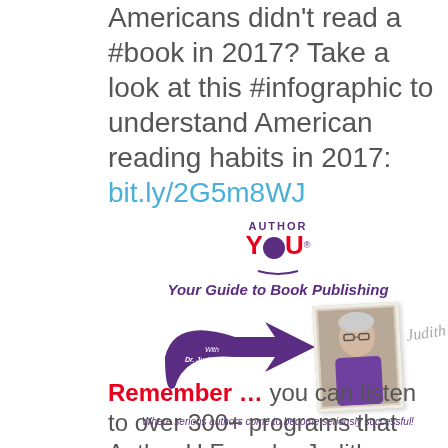Americans didn't read a #book in 2017? Take a look at this #infographic to understand American reading habits in 2017: bit.ly/2G5m8WJ
[Figure (logo): Author YOU - Your Guide to Book Publishing logo with purple arrow, photo of Dr. Judith Briles, and tagline 'Where serious authors come to become seriously successful!']
Remember … you can listen to over 300+ programs that Author U Founder Judith Briles has created for your book and authoring success: